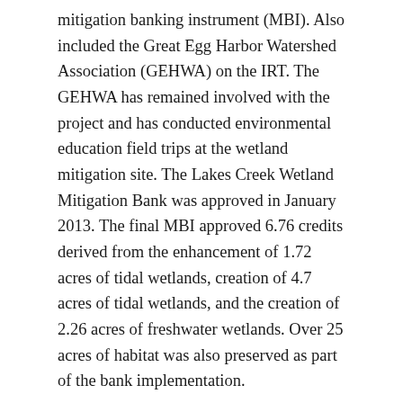mitigation banking instrument (MBI). Also included the Great Egg Harbor Watershed Association (GEHWA) on the IRT. The GEHWA has remained involved with the project and has conducted environmental education field trips at the wetland mitigation site. The Lakes Creek Wetland Mitigation Bank was approved in January 2013. The final MBI approved 6.76 credits derived from the enhancement of 1.72 acres of tidal wetlands, creation of 4.7 acres of tidal wetlands, and the creation of 2.26 acres of freshwater wetlands. Over 25 acres of habitat was also preserved as part of the bank implementation.
DRG also prepared successful applications for a NJDEP Freshwater Wetlands General Permit for wetland habitat enhancement, a Coastal General Permit for wetland habitat enhancement, and Tidelands Lease as well as authorization under USACE Nationwide Permit #27 for wetland habitat enhancement. DRG provided construction monitoring and